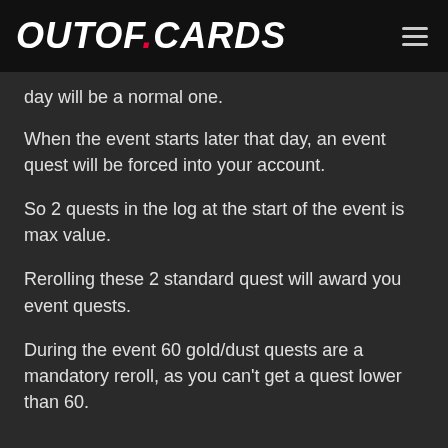OUTOF.CARDS
day will be a normal one.
When the event starts later that day, an event quest will be forced into your account.
So 2 quests in the log at the start of the event is max value.
Rerolling these 2 standard quest will award you event quests.
During the event 60 gold/dust quests are a mandatory reroll, as you can't get a quest lower than 60.